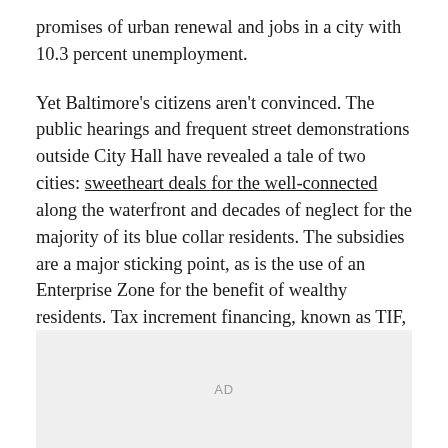promises of urban renewal and jobs in a city with 10.3 percent unemployment.
Yet Baltimore's citizens aren't convinced. The public hearings and frequent street demonstrations outside City Hall have revealed a tale of two cities: sweetheart deals for the well-connected along the waterfront and decades of neglect for the majority of its blue collar residents. The subsidies are a major sticking point, as is the use of an Enterprise Zone for the benefit of wealthy residents. Tax increment financing, known as TIF, will exempt the developer from taxation for a decade. To many residents, Harbor Point is just the latest example of socializing risk and privatizing gain.
[Figure (other): Advertisement placeholder box with 'AD' label centered]